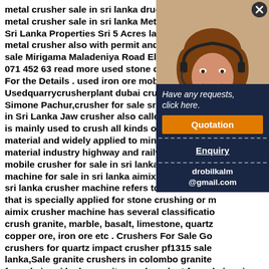metal crusher sale in sri lanka drucker-infoseite.de,mobile metal crusher sale in sri lanka Metal Crusher For Sale In Sri Lanka Properties Sri 5 Acres land for sale with saw mill metal crusher also with permit and 3 Phase electricity for sale Mirigama Maladeniya Road Elapiliyawa 071 66 23 917 071 452 63 read more used stone crusher machine plant For the Details . used iron ore mobile crusher in sri lanka Usedquarrycrusherplant dubai crusher for sale Simone Pachur,crusher for sale sri lanka,Jaw Crusher in Sri Lanka Jaw crusher also called jaw stone crusher is mainly used to crush all kinds of mineral and rock material and widely applied to mining industry, building material industry highway and railway construction mobile crusher for sale in sri lanka proves-projekt machine for sale in sri lanka aimix crusher machine sri lanka crusher machine refers to the crushing machine that is specially applied for stone crushing or mining, aimix crusher machine has several classification crush granite, marble, basalt, limestone, quartz, copper ore, iron ore etc . Crushers For Sale Go crushers for quartz impact crusher pf1315 sale lanka,Sale granite crushers in colombo granite for sale in sri lanka granite crusher plant for sale in sri lanka granite crusher this granite crushing production line in sri lanka is composed of rod vibrating feeder, jaw crusher, impact
[Figure (photo): Photo of a woman with a headset/microphone, smiling, customer service representative]
Have any requests, click here.
Quotation
Enquiry
drobilkalm@gmail.com